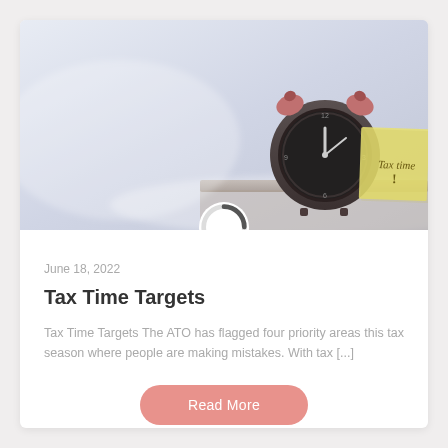[Figure (photo): A vintage alarm clock with a yellow sticky note reading 'Tax time!' placed in front of it, soft light background]
June 18, 2022
Tax Time Targets
Tax Time Targets The ATO has flagged four priority areas this tax season where people are making mistakes. With tax [...]
Read More